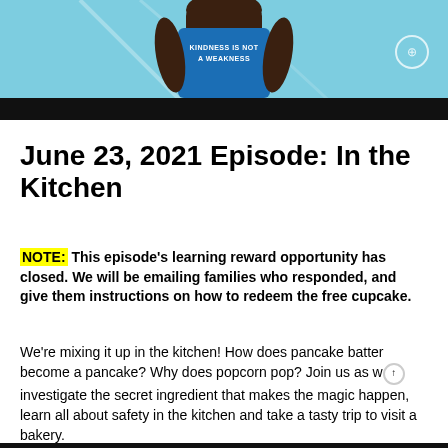[Figure (photo): Person wearing a blue shirt with text 'KINDNESS IS NOT A WEAKNESS', light blue background with structural elements visible. Black bar at bottom of image.]
June 23, 2021 Episode: In the Kitchen
NOTE: This episode's learning reward opportunity has closed. We will be emailing families who responded, and give them instructions on how to redeem the free cupcake.
We're mixing it up in the kitchen! How does pancake batter become a pancake? Why does popcorn pop? Join us as we investigate the secret ingredient that makes the magic happen, learn all about safety in the kitchen and take a tasty trip to visit a bakery.